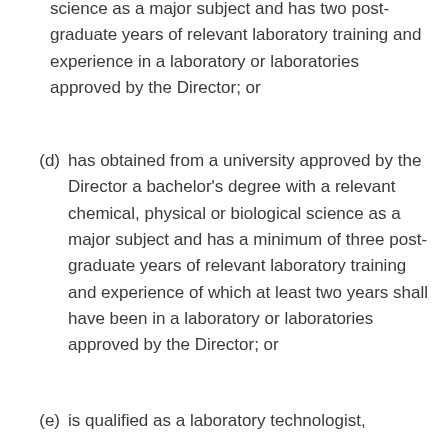science as a major subject and has two post-graduate years of relevant laboratory training and experience in a laboratory or laboratories approved by the Director; or
(d) has obtained from a university approved by the Director a bachelor's degree with a relevant chemical, physical or biological science as a major subject and has a minimum of three post-graduate years of relevant laboratory training and experience of which at least two years shall have been in a laboratory or laboratories approved by the Director; or
(e) is qualified as a laboratory technologist,